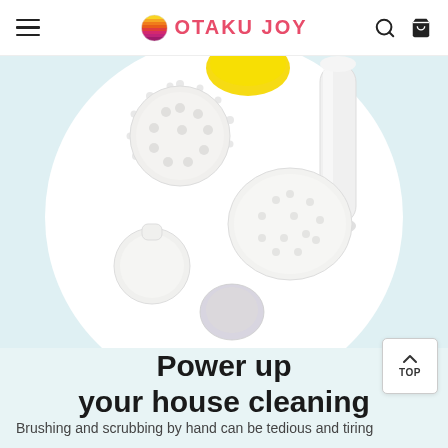OTAKU JOY
[Figure (photo): Product photo of electric cleaning brush kit with multiple brush head attachments (spiked scrubber, flat pad, small disc, large round brush, long cylindrical roller) laid on white circular background against light teal backdrop. Yellow sponge visible at top.]
Power up your house cleaning
Brushing and scrubbing by hand can be tedious and tiring